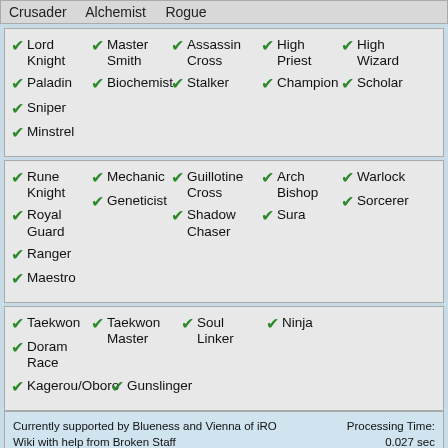| Col1 | Col2 | Col3 |
| --- | --- | --- |
| Crusader | Alchemist | Rogue |
| ✓ Lord Knight | ✓ Master Smith | ✓ Assassin Cross | ✓ High Priest | ✓ High Wizard | ✓ Sniper |
| ✓ Paladin | ✓ Biochemist | ✓ Stalker | ✓ Champion | ✓ Scholar | ✓ Minstrel |
| ✓ Rune Knight | ✓ Mechanic | ✓ Guillotine Cross | ✓ Arch Bishop | ✓ Warlock | ✓ Ranger |
| ✓ Royal Guard | ✓ Geneticist | ✓ Shadow Chaser | ✓ Sura | ✓ Sorcerer | ✓ Maestro |
| ✓ Taekwon | ✓ Taekwon Master | ✓ Soul Linker | ✓ Ninja | ✓ Kagerou/Oboro | ✓ Gunslinger |
| ✓ Doram Race |  |  |  |  |  |
Currently supported by Blueness and Vienna of iRO Wiki with help from Broken Staff
Created by Amesani: Previously Maintained by Mosu, Yurei and many others. Much thanks guys.
Bug Reports/Suggestions: Discord
Processing Time: 0.027 sec
SQL Queries Used: 15